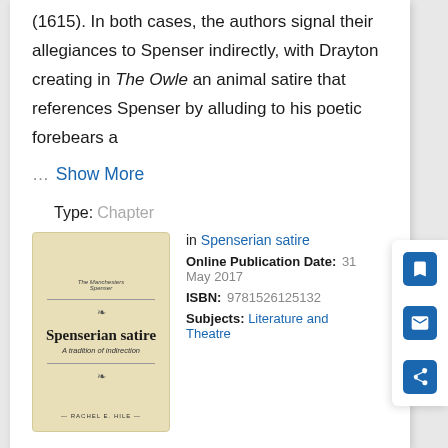(1615). In both cases, the authors signal their allegiances to Spenser indirectly, with Drayton creating in The Owle an animal satire that references Spenser by alluding to his poetic forebears a
... Show More
Type: Chapter
[Figure (illustration): Book cover of 'Spenserian satire: A tradition of indirection' by Rachel E. Hile, with a beige/cream background and ornamental dividers]
in Spenserian satire
Online Publication Date: 31 May 2017
ISBN: 9781526125132
Subjects: Literature and Theatre